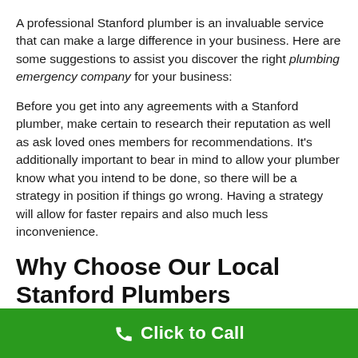A professional Stanford plumber is an invaluable service that can make a large difference in your business. Here are some suggestions to assist you discover the right plumbing emergency company for your business:
Before you get into any agreements with a Stanford plumber, make certain to research their reputation as well as ask loved ones members for recommendations. It's additionally important to bear in mind to allow your plumber know what you intend to be done, so there will be a strategy in position if things go wrong. Having a strategy will allow for faster repairs and also much less inconvenience.
Why Choose Our Local Stanford Plumbers
Click to Call